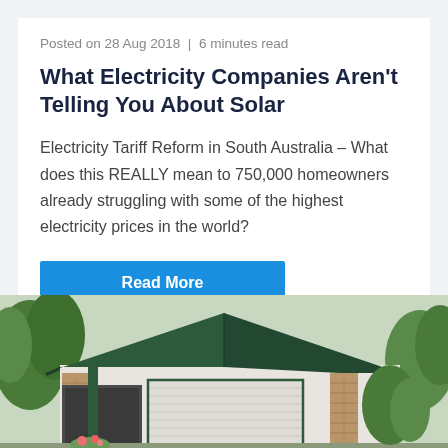Posted on 28 Aug 2018 | 6 minutes read
What Electricity Companies Aren't Telling You About Solar
Electricity Tariff Reform in South Australia – What does this REALLY mean to 750,000 homeowners already struggling with some of the highest electricity prices in the world?
Read More
[Figure (photo): Exterior of a residential house with green roof, brick facade, roller door garage, and surrounding trees]